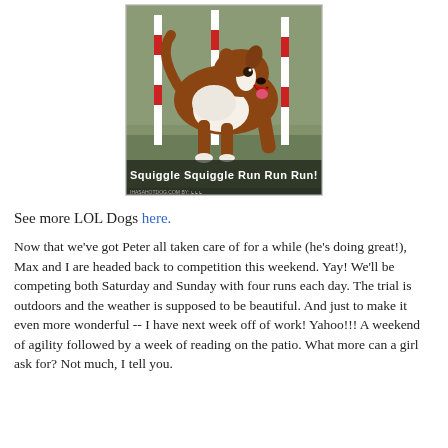[Figure (photo): A brown and white border collie dog running in an agility competition with red and white poles/jumps in the background. The dog has its mouth open. Text overlay reads 'Squiggle Squiggle Run Run Run!' with a website watermark at the bottom.]
See more LOL Dogs here.
Now that we've got Peter all taken care of for a while (he's doing great!), Max and I are headed back to competition this weekend. Yay! We'll be competing both Saturday and Sunday with four runs each day. The trial is outdoors and the weather is supposed to be beautiful. And just to make it even more wonderful -- I have next week off of work! Yahoo!!! A weekend of agility followed by a week of reading on the patio. What more can a girl ask for? Not much, I tell you.